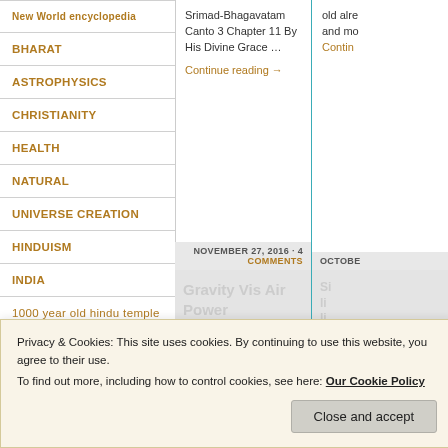BHARAT
ASTROPHYSICS
CHRISTIANITY
HEALTH
NATURAL
UNIVERSE CREATION
HINDUISM
INDIA
1000 year old hindu temple
BUDDHA
Srimad-Bhagavatam Canto 3 Chapter 11 By His Divine Grace …
Continue reading →
NOVEMBER 27, 2016 · 4 COMMENTS
OCTOBE
[Figure (screenshot): Gravity Vis Air Power thumbnail image placeholder (grey box)]
[Figure (screenshot): Second article thumbnail placeholder (grey box, partially visible)]
Privacy & Cookies: This site uses cookies. By continuing to use this website, you agree to their use.
To find out more, including how to control cookies, see here: Our Cookie Policy
Close and accept